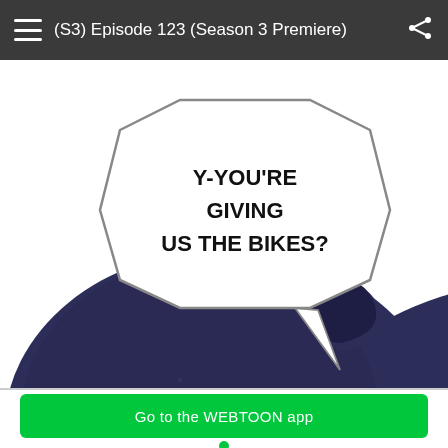(S3) Episode 123 (Season 3 Premiere)
[Figure (illustration): Manga/webtoon panel showing a character with dark purple/blue hair viewed from behind, with a speech bubble saying 'Y-YOU'RE GIVING US THE BIKES?']
[Figure (infographic): WiFi icon with an exclamation mark warning symbol in green]
Having trouble with slow networks?
Download stories on your phone and read offline!
Go to the WEBTOON app